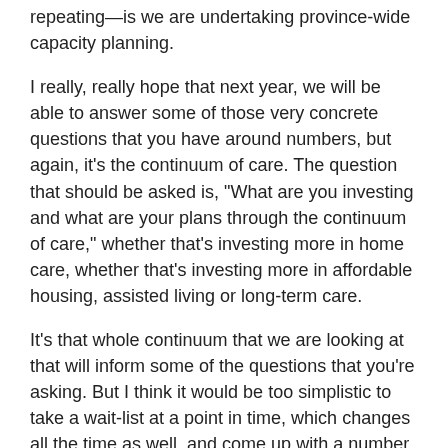repeating—is we are undertaking province-wide capacity planning.
I really, really hope that next year, we will be able to answer some of those very concrete questions that you have around numbers, but again, it's the continuum of care. The question that should be asked is, "What are you investing and what are your plans through the continuum of care," whether that's investing more in home care, whether that's investing more in affordable housing, assisted living or long-term care.
It's that whole continuum that we are looking at that will inform some of the questions that you're asking. But I think it would be too simplistic to take a wait-list at a point in time, which changes all the time as well, and come up with a number.
Mr. Bill Walker: Thank you very much, Associate Minister. I'll be pleased to continue to shine the light on you next year because the...